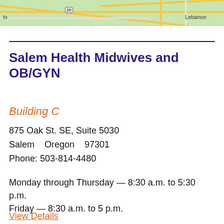[Figure (map): Partial map showing road network near Lebanon, Oregon with route 20 shield visible and yellow roads on green background]
Salem Health Midwives and OB/GYN
Building C
875 Oak St. SE, Suite 5030
Salem   Oregon   97301
Phone: 503-814-4480
Monday through Thursday — 8:30 a.m. to 5:30 p.m.
Friday — 8:30 a.m. to 5 p.m.
View Details